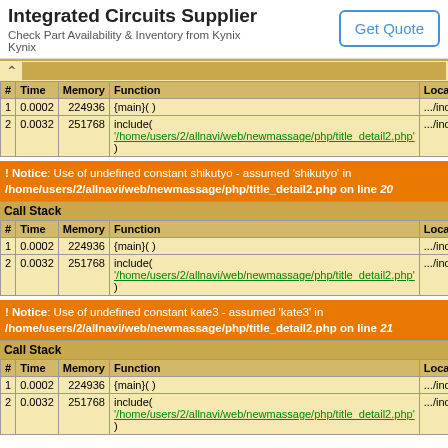[Figure (other): Advertisement banner for Kynix Integrated Circuits Supplier with Get Quote button]
| # | Time | Memory | Function | Location |
| --- | --- | --- | --- | --- |
| 1 | 0.0002 | 224936 | {main}( ) | .../index.html:0 |
| 2 | 0.0032 | 251768 | include( '/home/users/2/allnavi/web/newmassage/php/title_detail2.php' ) | .../index.html:10 |
Notice: Use of undefined constant shikutyo - assumed 'shikutyo' in /home/users/2/allnavi/web/newmassage/php/title_detail2.php on line 20
| # | Time | Memory | Function | Location |
| --- | --- | --- | --- | --- |
| 1 | 0.0002 | 224936 | {main}( ) | .../index.html:0 |
| 2 | 0.0032 | 251768 | include( '/home/users/2/allnavi/web/newmassage/php/title_detail2.php' ) | .../index.html:10 |
Notice: Use of undefined constant kate3 - assumed 'kate3' in /home/users/2/allnavi/web/newmassage/php/title_detail2.php on line 21
| # | Time | Memory | Function | Location |
| --- | --- | --- | --- | --- |
| 1 | 0.0002 | 224936 | {main}( ) | .../index.html:0 |
| 2 | 0.0032 | 251768 | include( '/home/users/2/allnavi/web/newmassage/php/title_detail2.php' ) | .../index.html:10 |